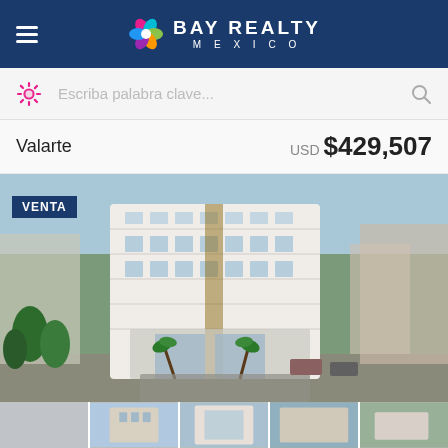Bay Realty Mexico
Escriba palabra clave...
Valarte   USD $429,507
[Figure (photo): Aerial view of Valarte luxury condominium building in Puerto Vallarta, Mexico, with VENTA badge overlay]
[Figure (photo): Thumbnail strip of 5 property photos at the bottom]